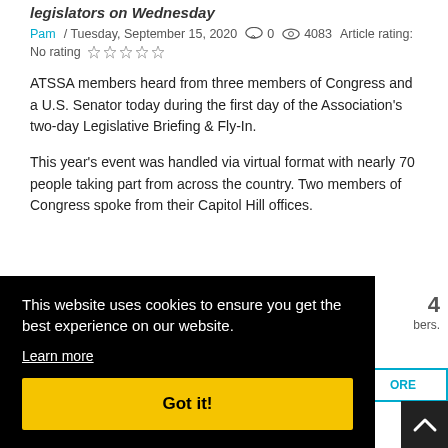legislators on Wednesday
Pam / Tuesday, September 15, 2020   0   4083   Article rating:
No rating ☆☆☆☆☆
ATSSA members heard from three members of Congress and a U.S. Senator today during the first day of the Association's two-day Legislative Briefing & Fly-In.
This year's event was handled via virtual format with nearly 70 people taking part from across the country. Two members of Congress spoke from their Capitol Hill offices.
This website uses cookies to ensure you get the best experience on our website.
Learn more
Got it!